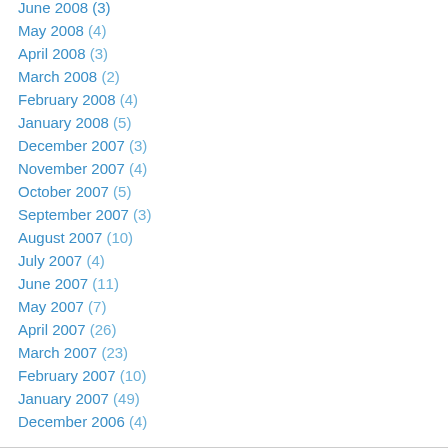June 2008 (3)
May 2008 (4)
April 2008 (3)
March 2008 (2)
February 2008 (4)
January 2008 (5)
December 2007 (3)
November 2007 (4)
October 2007 (5)
September 2007 (3)
August 2007 (10)
July 2007 (4)
June 2007 (11)
May 2007 (7)
April 2007 (26)
March 2007 (23)
February 2007 (10)
January 2007 (49)
December 2006 (4)